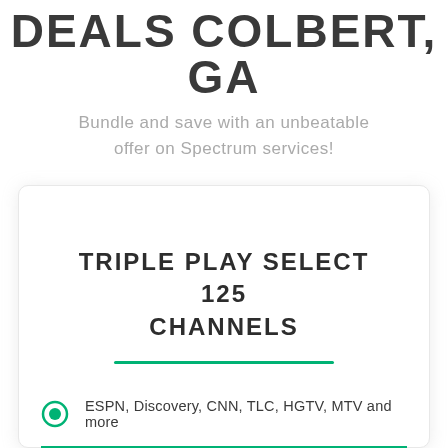DEALS COLBERT, GA
Bundle and save with an unbeatable offer on Spectrum services!
TRIPLE PLAY SELECT 125 CHANNELS
ESPN, Discovery, CNN, TLC, HGTV, MTV and more